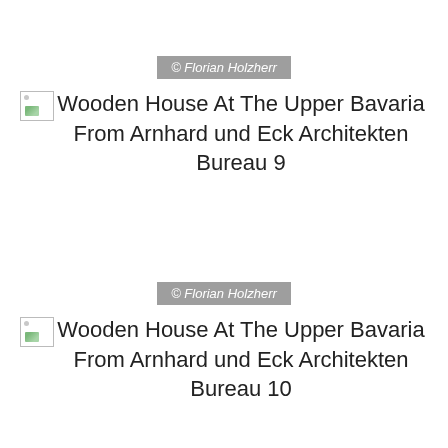[Figure (photo): Broken image placeholder with watermark overlay reading '© Florian Holzherr' — first photo of Wooden House]
Wooden House At The Upper Bavaria From Arnhard und Eck Architekten Bureau 9
[Figure (photo): Broken image placeholder with watermark overlay reading '© Florian Holzherr' — second photo of Wooden House]
Wooden House At The Upper Bavaria From Arnhard und Eck Architekten Bureau 10